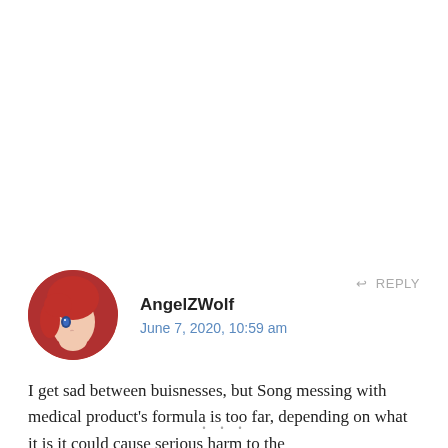[Figure (illustration): Circular avatar showing an anime-style character with red hair and blue eyes]
AngelZWolf
June 7, 2020, 10:59 am
↩ REPLY
I get sad between buisnesses, but Song messing with medical product's formula is too far, depending on what it is it could cause serious harm to the